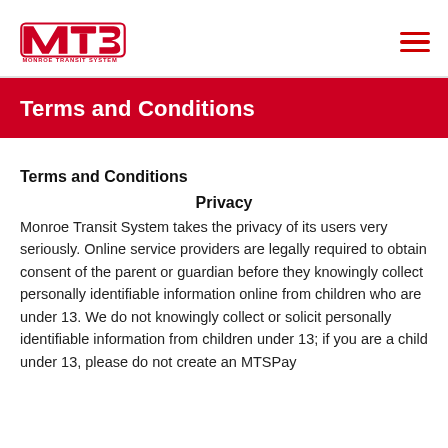Monroe Transit System
Terms and Conditions
Terms and Conditions
Privacy
Monroe Transit System takes the privacy of its users very seriously. Online service providers are legally required to obtain consent of the parent or guardian before they knowingly collect personally identifiable information online from children who are under 13. We do not knowingly collect or solicit personally identifiable information from children under 13; if you are a child under 13, please do not create an MTSPay